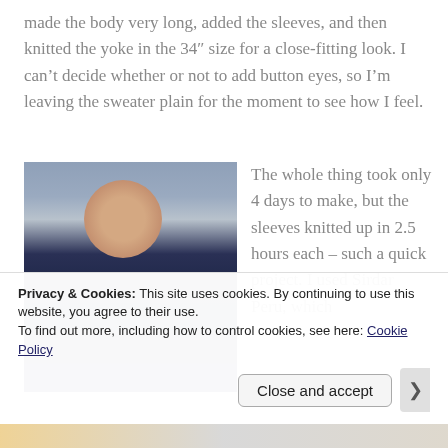made the body very long, added the sleeves, and then knitted the yoke in the 34″ size for a close-fitting look. I can’t decide whether or not to add button eyes, so I’m leaving the sweater plain for the moment to see how I feel.
[Figure (photo): A woman with short reddish-brown hair and glasses, smiling, wearing a navy blue yoked sweater, standing outside with bare winter trees and a shed in the background.]
The whole thing took only 4 days to make, but the sleeves knitted up in 2.5 hours each – such a quick project. I used Sirdar Peru, which
Privacy & Cookies: This site uses cookies. By continuing to use this website, you agree to their use.
To find out more, including how to control cookies, see here: Cookie Policy